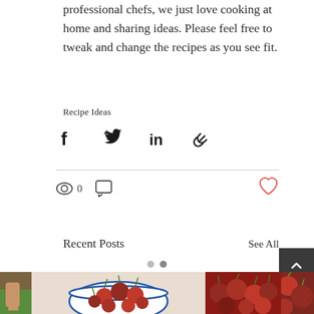professional chefs, we just love cooking at home and sharing ideas. Please feel free to tweak and change the recipes as you see fit.
Recipe Ideas
[Figure (infographic): Social share icons: Facebook, Twitter, LinkedIn, and link/copy icons in a row]
0
Recent Posts
See All
[Figure (photo): Photos of cherries: a partial person photo on the left, a bowl of red cherries in the center, a pile of cherries on the right, and partial cherry photo on far right]